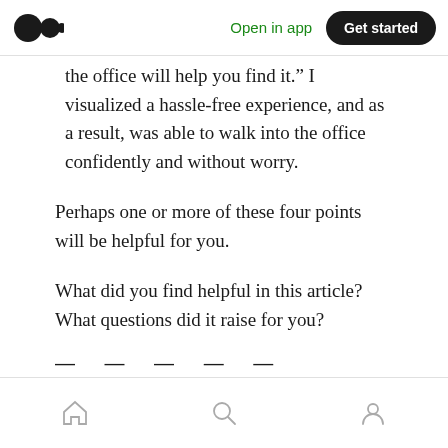Open in app | Get started
the office will help you find it.” I visualized a hassle-free experience, and as a result, was able to walk into the office confidently and without worry.
Perhaps one or more of these four points will be helpful for you.
What did you find helpful in this article? What questions did it raise for you?
— — — — —
Home | Search | Profile